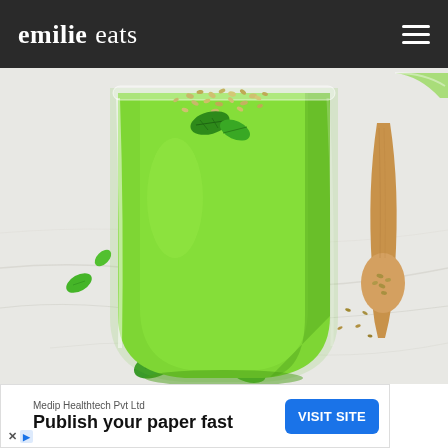emilie eats
[Figure (photo): Close-up photo of a green smoothie in a clear glass jar, topped with hemp seeds and fresh basil/spinach leaves. A wooden spoon with hemp seeds is visible to the right. Loose spinach leaves are scattered on a white marble surface.]
Medip Healthtech Pvt Ltd
Publish your paper fast
VISIT SITE